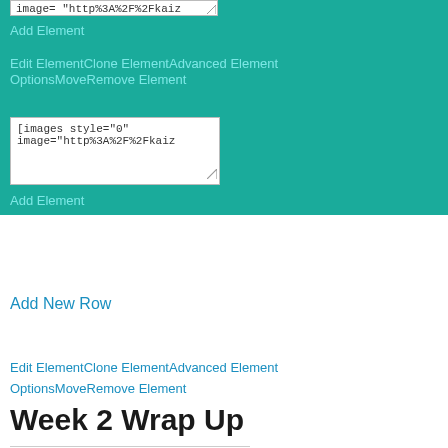[Figure (screenshot): Teal/cyan CMS editor panel showing code boxes with shortcode text, Add Element, Edit Element, Clone Element, Advanced Element Options, Move, Remove Element links in light teal color]
Add New Row
Edit ElementClone ElementAdvanced Element OptionsMoveRemove Element
Week 2 Wrap Up